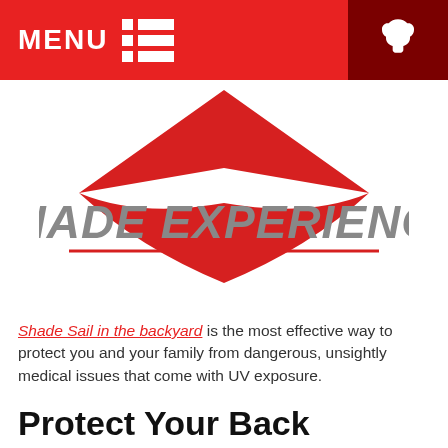MENU  [phone icon]
[Figure (logo): Shade Experience logo with red angular sail-like shape above the text SHADE EXPERIENCE in bold italic grey lettering, with red curved shapes below]
Shade Sail in the backyard is the most effective way to protect you and your family from dangerous, unsightly medical issues that come with UV exposure.
Protect Your Back Pocket with Shade Sails